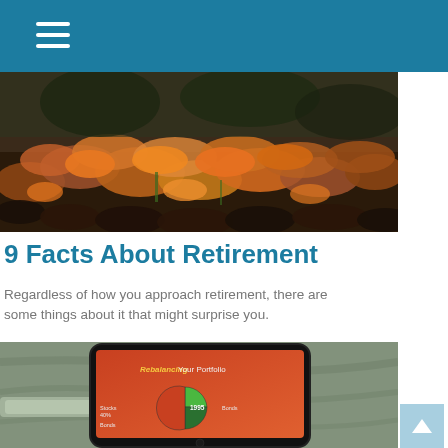[Figure (photo): Close-up photograph of autumn leaves on the ground, brown and orange foliage covering the forest floor with some green visible]
9 Facts About Retirement
Regardless of how you approach retirement, there are some things about it that might surprise you.
[Figure (photo): Photograph of a tablet device showing a slide titled 'Rebalancing Your Portfolio' with a pie chart showing Stocks 40%, 1995, and Bonds sections, placed on a grey fabric bag]